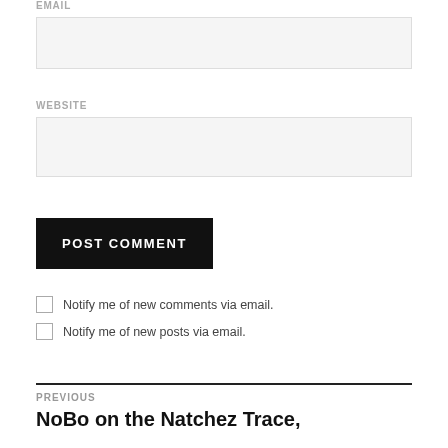EMAIL
WEBSITE
POST COMMENT
Notify me of new comments via email.
Notify me of new posts via email.
PREVIOUS
NoBo on the Natchez Trace,